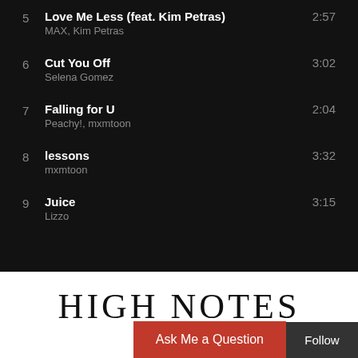5  Love Me Less (feat. Kim Petras)  2:57
MAX, Kim Petras
6  Cut You Off  3:02
Selena Gomez
7  Falling for U  2:04
Peachy!, mxmtoon
8  lessons  3:32
mxmtoon
9  Juice  3:15
Lizzo
HIGH NOTES
Ask Me a Question
Follow